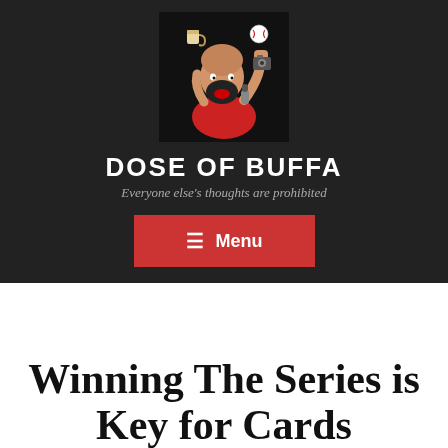[Figure (illustration): Cartoon illustration of a bald man with a beard wearing a red shirt, shouting into a microphone with raised fist, with icons including a baseball, coffee cup, and camera floating around his head, on a black background.]
DOSE OF BUFFA
Everyone else's thoughts are prohibited
☰ Menu
Winning The Series is Key for Cards